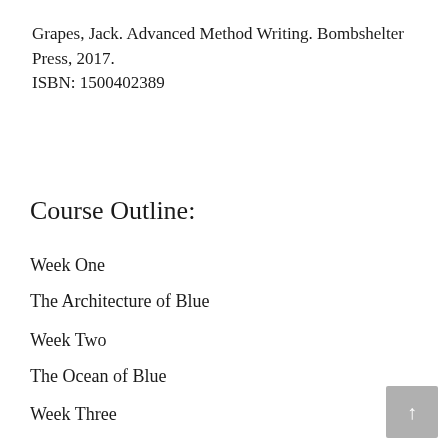Grapes, Jack. Advanced Method Writing. Bombshelter Press, 2017.
ISBN: 1500402389
Course Outline:
Week One
The Architecture of Blue
Week Two
The Ocean of Blue
Week Three